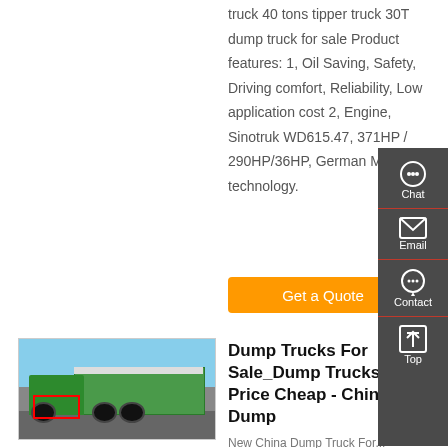truck 40 tons tipper truck 30T dump truck for sale Product features: 1, Oil Saving, Safety, Driving comfort, Reliability, Low application cost 2, Engine, Sinotruk WD615.47, 371HP / 290HP/36HP, German Man technology.
[Figure (other): Orange 'Get a Quote' button]
[Figure (photo): Green Sinotruk dump truck parked on pavement with blue sky background]
Dump Trucks For Sale_Dump Trucks Price Cheap - China Dump
New China Dump Truck For...